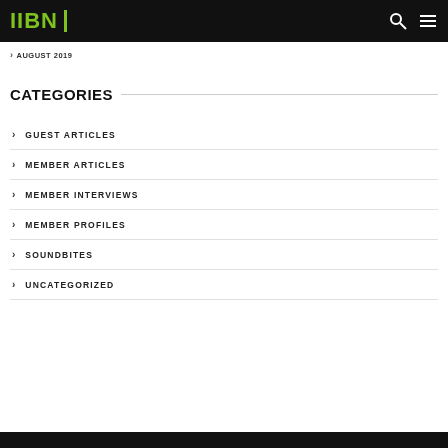IIBN
AUGUST 2019
CATEGORIES
GUEST ARTICLES
MEMBER ARTICLES
MEMBER INTERVIEWS
MEMBER PROFILES
SOUNDBITES
UNCATEGORIZED